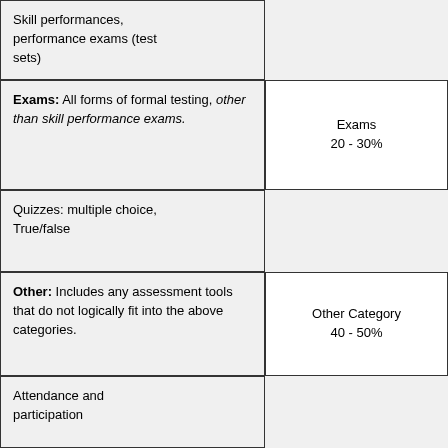Skill performances, performance exams (test sets)
Exams: All forms of formal testing, other than skill performance exams.
Exams
20 - 30%
Quizzes: multiple choice, True/false
Other: Includes any assessment tools that do not logically fit into the above categories.
Other Category
40 - 50%
Attendance and participation